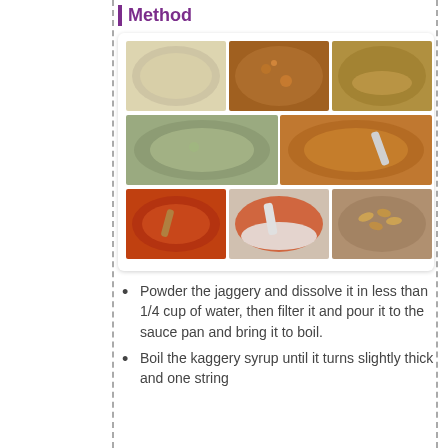Method
[Figure (photo): A 3x3 grid of cooking process photos showing steps for making a dessert with lentils/grains and jaggery: raw grains, boiling/browning, adding ingredients, simmering, stirring, finishing with milk and nuts.]
Powder the jaggery and dissolve it in less than 1/4 cup of water, then filter it and pour it to the sauce pan and bring it to boil.
Boil the kaggery syrup until it turns slightly thick and one string